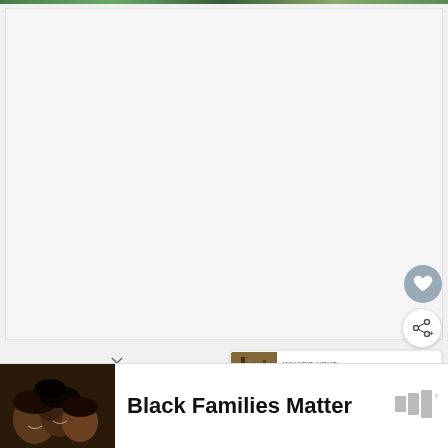[Figure (photo): Thin green/nature image strip at top of page]
[Figure (screenshot): Large light gray empty content area, main video/article embed area]
[Figure (illustration): Heart (favorite) button - circular gray button with heart icon]
[Figure (illustration): Share button - circular white button with share/add icon]
[Figure (illustration): What's Next panel showing thumbnail of forest/road scene and text 'Sandwich Testing']
[Figure (photo): Advertisement banner: Black Families Matter with photo of smiling Black family]
WHAT'S NEXT →
Sandwich Testing
Black Families Matter